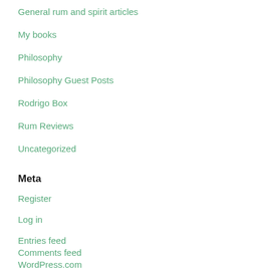General rum and spirit articles
My books
Philosophy
Philosophy Guest Posts
Rodrigo Box
Rum Reviews
Uncategorized
Meta
Register
Log in
Entries feed
Comments feed
WordPress.com